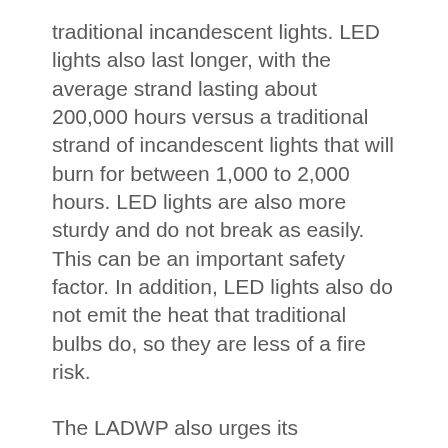traditional incandescent lights. LED lights also last longer, with the average strand lasting about 200,000 hours versus a traditional strand of incandescent lights that will burn for between 1,000 to 2,000 hours. LED lights are also more sturdy and do not break as easily. This can be an important safety factor. In addition, LED lights also do not emit the heat that traditional bulbs do, so they are less of a fire risk.
The LADWP also urges its customers to remember the importance of electrical safety when stringing decorative lights and operating holiday devices such as model trains and inflatables.